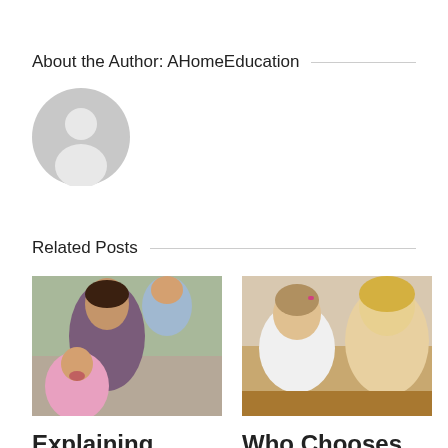About the Author: AHomeEducation
[Figure (illustration): Gray circular avatar/profile placeholder icon]
Related Posts
[Figure (photo): A smiling mother with two children laughing outdoors]
[Figure (photo): A young girl and a woman looking at something on the floor together]
Explaining
Who Chooses